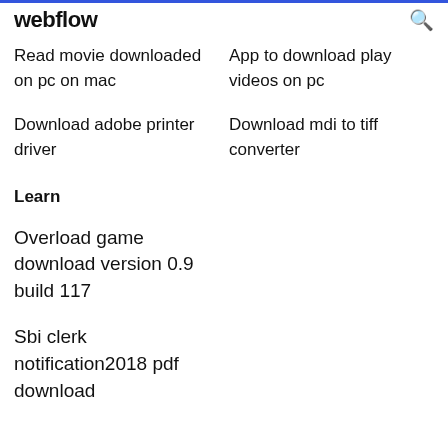webflow
Read movie downloaded App to download play on pc on mac videos on pc
Download adobe printer Download mdi to tiff driver converter
Learn
Overload game download version 0.9 build 117
Sbi clerk notification2018 pdf download